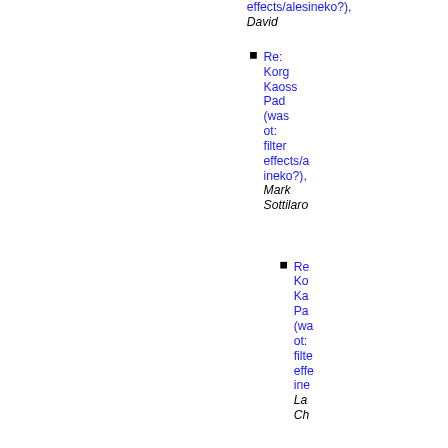effects/alesineko?),
David
Re: Korg Kaoss Pad (was ot: filter effects/alesineko?), Mark Sottilaro
Re: Korg Kaoss Pad (was ot: filter effects/ine... Lars Ch...